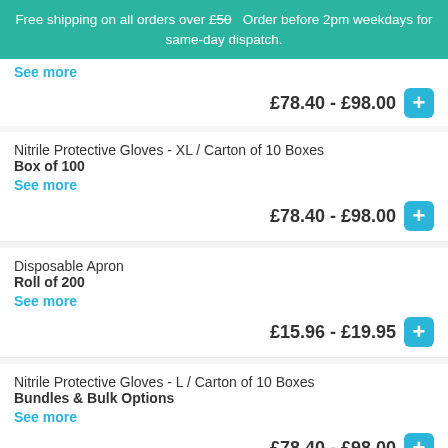Free shipping on all orders over £50   Order before 2pm weekdays for same-day dispatch.
See more
£78.40 - £98.00
Nitrile Protective Gloves - XL / Carton of 10 Boxes
Box of 100
See more
£78.40 - £98.00
Disposable Apron
Roll of 200
See more
£15.96 - £19.95
Nitrile Protective Gloves - L / Carton of 10 Boxes
Bundles & Bulk Options
See more
£78.40 - £98.00